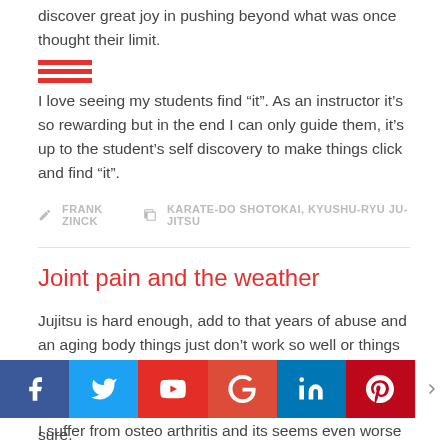pushes through frustration, exhaustion and muscle fatigue. They discover great joy in pushing beyond what was once thought their limit.
I love seeing my students find “it”. As an instructor it’s so rewarding but in the end I can only guide them, it’s up to the student’s self discovery to make things click and find “it”.
FRANK ZINCK   KARATE-DO SHOTOKAI, KYUSHU-RYU JU-JITSU
Joint pain and the weather
Jujitsu is hard enough, add to that years of abuse and an aging body things just don’t work so well or things pain a lot more and injuries seem to take a lot longer to heal.
I suffer from osteo arthritis and its seems even worse with these Nova Scotia winters. You can't stop a sunrise and there's only one way to stop aging.... And I don’t see death as an option lol. So I play with the best of my abilities, have fun, stay fit and enjoy the martial arts but even more so enjoy the students especially the sure.
[Figure (infographic): Social media share bar with Facebook, Twitter, YouTube, Google+, LinkedIn, Pinterest buttons]